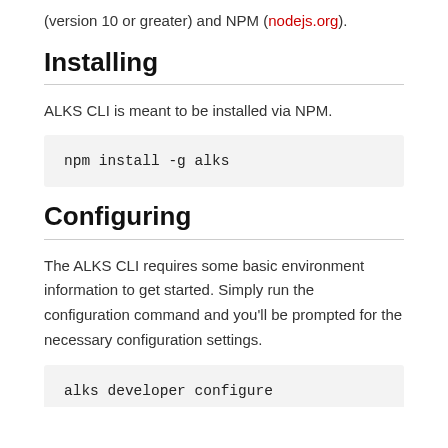(version 10 or greater) and NPM (nodejs.org).
Installing
ALKS CLI is meant to be installed via NPM.
npm install -g alks
Configuring
The ALKS CLI requires some basic environment information to get started. Simply run the configuration command and you'll be prompted for the necessary configuration settings.
alks developer configure